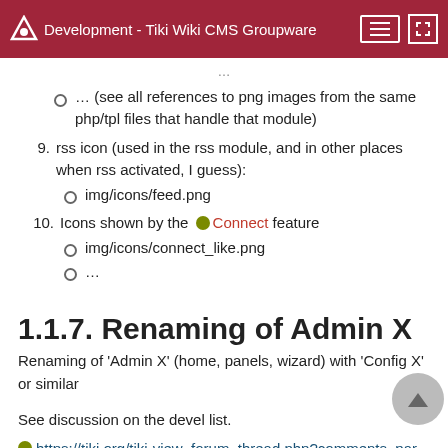Development - Tiki Wiki CMS Groupware
... (see all references to png images from the same php/tpl files that handle that module)
9. rss icon (used in the rss module, and in other places when rss activated, I guess):
img/icons/feed.png
10. Icons shown by the Connect feature
img/icons/connect_like.png
...
1.1.7. Renaming of Admin X
Renaming of 'Admin X' (home, panels, wizard) with 'Config X' or similar
See discussion on the devel list.
https://tiki.org/tiki-view_forum_thread.php?comments_par